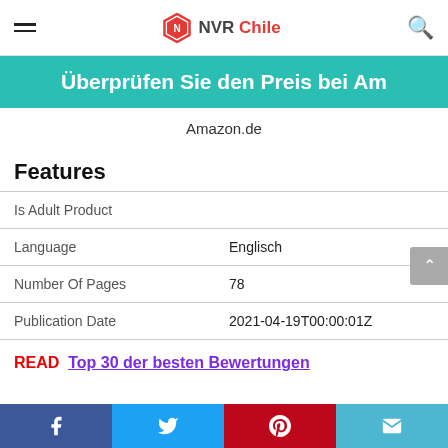NVR Chile
Überprüfen Sie den Preis bei Am
Amazon.de
Features
|  |  |
| --- | --- |
| Is Adult Product |  |
| Language | Englisch |
| Number Of Pages | 78 |
| Publication Date | 2021-04-19T00:00:01Z |
READ  Top 30 der besten Bewertungen